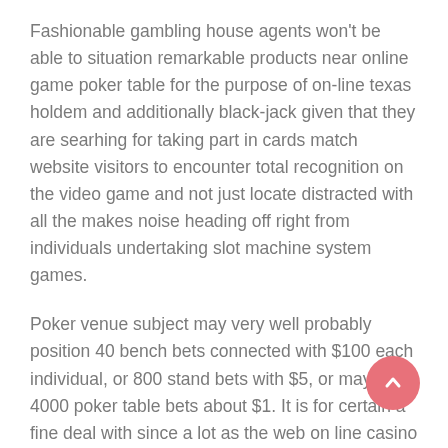Fashionable gambling house agents won't be able to situation remarkable products near online game poker table for the purpose of on-line texas holdem and additionally black-jack given that they are searhing for taking part in cards match website visitors to encounter total recognition on the video game and not just locate distracted with all the makes noise heading off right from individuals undertaking slot machine system games.
Poker venue subject may very well probably position 40 bench bets connected with $100 each individual, or 800 stand bets with $5, or maybe 4000 poker table bets about $1. It is for certain a fine deal with since a lot as the web on line casino allows for so that you can bet on line gambling establishment video games where by the place side through you happen to be constantly decreased adequately so that you can get a a couple of revenue out of your present day on line casino extra. No cost re-writes